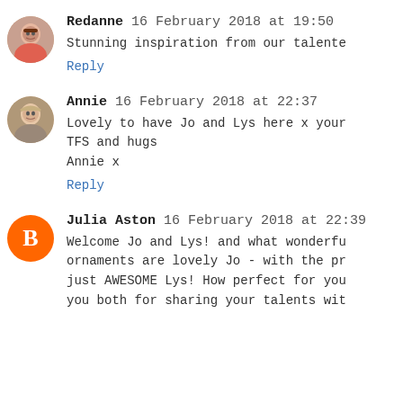[Figure (photo): Small circular avatar photo of Redanne, a woman with glasses]
Redanne 16 February 2018 at 19:50
Stunning inspiration from our talente
Reply
[Figure (photo): Small circular avatar photo of Annie, a woman with blonde hair]
Annie 16 February 2018 at 22:37
Lovely to have Jo and Lys here x your
TFS and hugs
Annie x
Reply
[Figure (logo): Orange circular Blogger icon with white B letter]
Julia Aston 16 February 2018 at 22:39
Welcome Jo and Lys! and what wonderfu
ornaments are lovely Jo - with the pr
just AWESOME Lys! How perfect for you
you both for sharing your talents wit